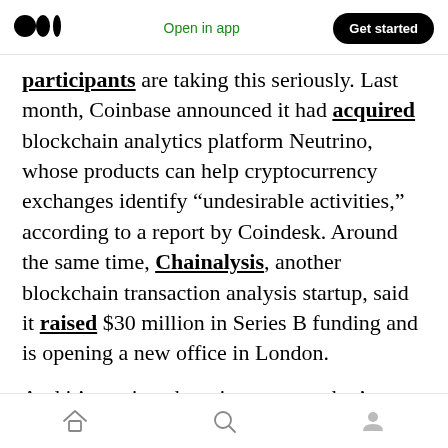Medium logo | Open in app | Get started
participants are taking this seriously. Last month, Coinbase announced it had acquired blockchain analytics platform Neutrino, whose products can help cryptocurrency exchanges identify “undesirable activities,” according to a report by Coindesk. Around the same time, Chainalysis, another blockchain transaction analysis startup, said it raised $30 million in Series B funding and is opening a new office in London.
And it’s not just the private sector that’s taking actions. In December, two U.S. Congressmen
Home | Search | Profile